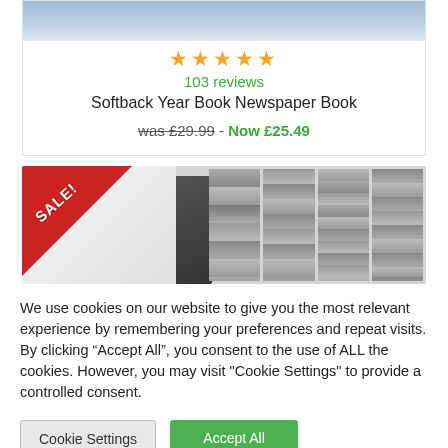[Figure (photo): Product image of a book at top of card (cropped, partially visible)]
★★★★★
103 reviews
Softback Year Book Newspaper Book
was £29.99 - Now £25.49
[Figure (photo): Photo of softback year books/newspaper books with a red SALE! triangular banner in the top-left corner]
We use cookies on our website to give you the most relevant experience by remembering your preferences and repeat visits. By clicking "Accept All", you consent to the use of ALL the cookies. However, you may visit "Cookie Settings" to provide a controlled consent.
Cookie Settings
Accept All